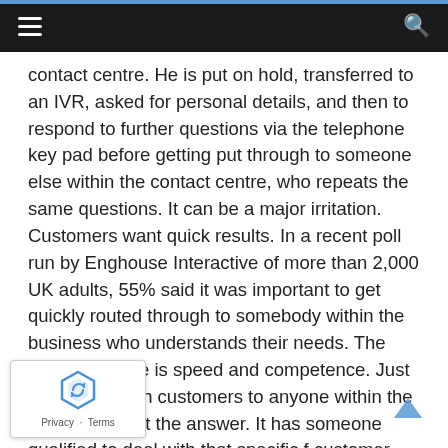Navigation bar with hamburger menu and search icon
contact centre. He is put on hold, transferred to an IVR, asked for personal details, and then to respond to further questions via the telephone key pad before getting put through to someone else within the contact centre, who repeats the same questions. It can be a major irritation. Customers want quick results. In a recent poll run by Enghouse Interactive of more than 2,000 UK adults, 55% said it was important to get quickly routed through to somebody within the business who understands their needs. The emphasis here is speed and competence. Just routing through customers to anyone within the business is not the answer. It has someone qualified to deal with that specific f customer and interaction.